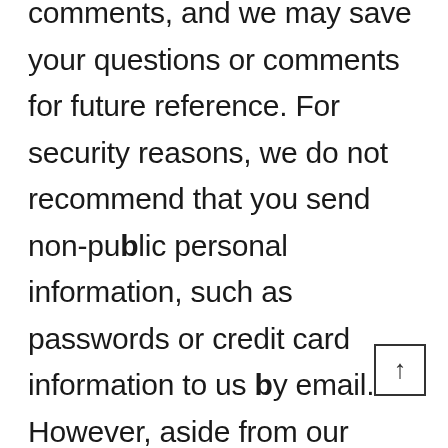comments, and we may save your questions or comments for future reference. For security reasons, we do not recommend that you send non-public personal information, such as passwords or credit card information to us by email. However, aside from our reply to such an email, it is not our standard practice to send you email unless you request a particular service or sign up for a feature that involves email communications, it relates to